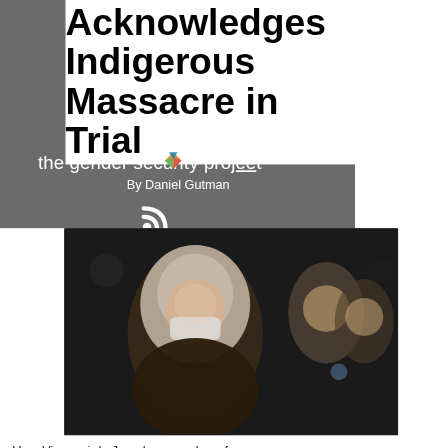Acknowledges Indigenous Massacre in Trial
the gender security project
By Daniel Gutman
[Figure (photo): A woman wearing a hijab and face mask seated in a room, with other women visible in the background, photographed in a dark indoor setting.]
Vera Vigevani de Jarach, a member of the human rights group Mothers of the Plaza de Mayo, attends the trial.